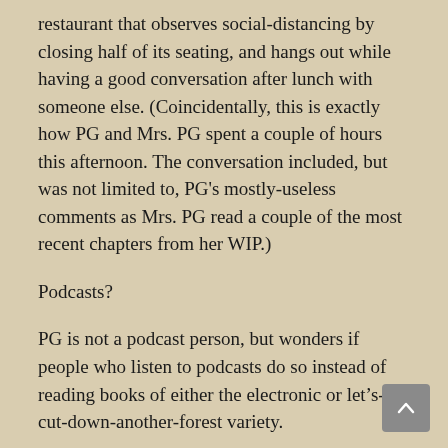restaurant that observes social-distancing by closing half of its seating, and hangs out while having a good conversation after lunch with someone else. (Coincidentally, this is exactly how PG and Mrs. PG spent a couple of hours this afternoon. The conversation included, but was not limited to, PG's mostly-useless comments as Mrs. PG read a couple of the most recent chapters from her WIP.)
Podcasts?
PG is not a podcast person, but wonders if people who listen to podcasts do so instead of reading books of either the electronic or let's-cut-down-another-forest variety.
PG is happy to be instructed/corrected/updated/straightened-out/brought-into-the-21st-Century, etc., by podcast